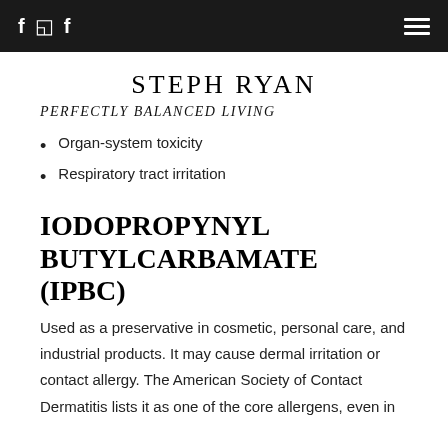STEPH RYAN | PERFECTLY BALANCED LIVING
STEPH RYAN
PERFECTLY BALANCED LIVING
Organ-system toxicity
Respiratory tract irritation
IODOPROPYNYL BUTYLCARBAMATE (IPBC)
Used as a preservative in cosmetic, personal care, and industrial products. It may cause dermal irritation or contact allergy. The American Society of Contact Dermatitis lists it as one of the core allergens, even in